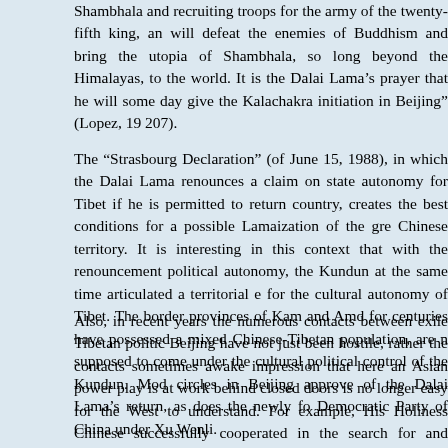Shambhala and recruiting troops for the army of the twenty-fifth king, an will defeat the enemies of Buddhism and bring the utopia of Shambhala, so long beyond the Himalayas, to the world. It is the Dalai Lama's prayer that he will some day give the Kalachakra initiation in Beijing" (Lopez, 19 207).
The “Strasbourg Declaration” (of June 15, 1988), in which the Dalai Lama renounces a claim on state autonomy for Tibet if he is permitted to return country, creates the best conditions for a possible Lamaization of the gre Chinese territory. It is interesting in this context that with the renouncement political autonomy, the Kundun at the same time articulated a territorial e for the cultural autonomy of Tibet. The border provinces of Kam and Amd for centuries have possessed a mixed Chinese-Tibetan population, are n supposed to come under the cultural political control of the Kundun. Mod circles in Beijing approve of the Dalai Lama's return, as does the newly fo Democratic Party of China under Xu Wenli.
Also, in recent years the numerous contacts between exile Tibetan politic Beijing have not just been hostile, rather the contacts sometimes awake impression that here an Asian power play is at work behind closed doors is no longer easy for the West to understand. For example, His Holiness Chinese successfully cooperated in the search for and appointment of the reincarnation of the Karmapa, the leader of the Red Hats, although here Kagyupa faction did propose another candidate and enthrone him in the W